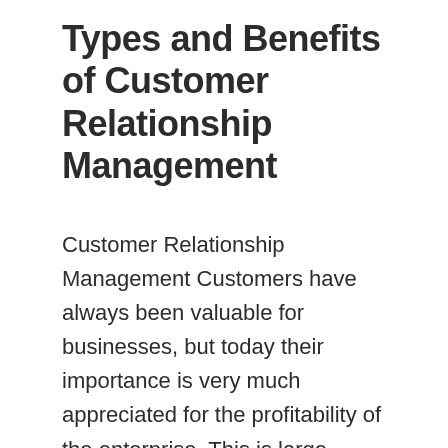Types and Benefits of Customer Relationship Management
Customer Relationship Management Customers have always been valuable for businesses, but today their importance is very much appreciated for the profitability of the enterprise. This is large because of rapid